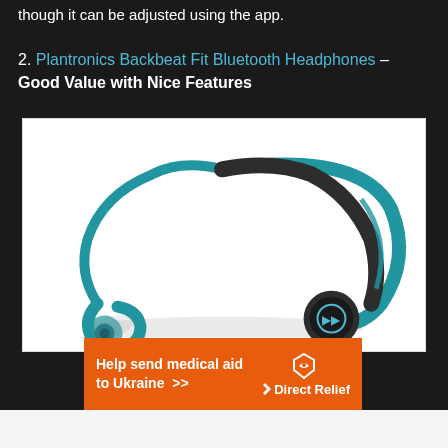though it can be adjusted using the app.
2. Plantronics Backbeat Fit Bluetooth Headphones – Good Value with Nice Features
[Figure (photo): Plantronics Backbeat Fit Bluetooth Headphones in blue and black color on white background]
[Figure (infographic): DirectRelief advertisement banner: Help send medical aid to Ukraine >> with DirectRelief logo]